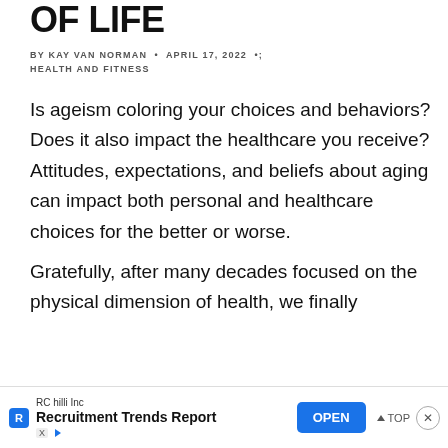OF LIFE
BY KAY VAN NORMAN • APRIL 17, 2022 • HEALTH AND FITNESS
Is ageism coloring your choices and behaviors? Does it also impact the healthcare you receive? Attitudes, expectations, and beliefs about aging can impact both personal and healthcare choices for the better or worse.

Gratefully, after many decades focused on the physical dimension of health, we finally
[Figure (other): Advertisement banner from RC hilli Inc for Recruitment Trends Report with an OPEN button and close/TOP controls]